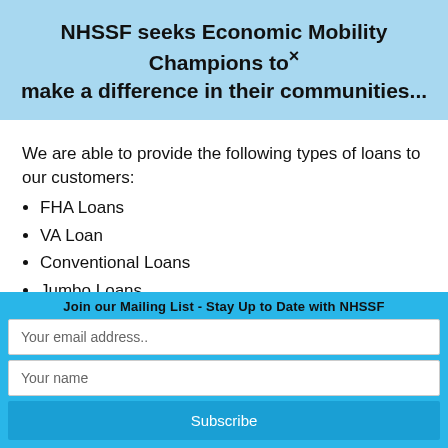NHSSF seeks Economic Mobility Champions to make a difference in their communities...
We are able to provide the following types of loans to our customers:
FHA Loans
VA Loan
Conventional Loans
Jumbo Loans
USDA Loans
Loans for 2-4 unit buildings
Reverse Mortgage Loans
Join our Mailing List - Stay Up to Date with NHSSF
Your email address..
Your name
Subscribe